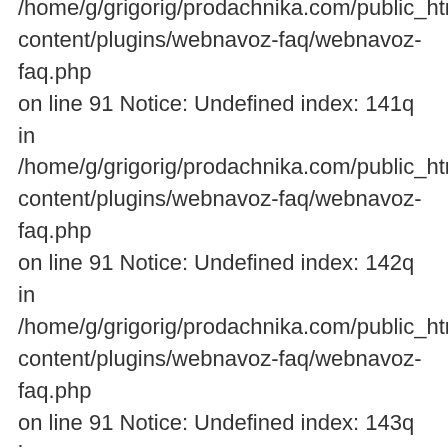/home/g/grigorig/prodachnika.com/public_html/wp-content/plugins/webnavoz-faq/webnavoz-faq.php on line 91 Notice: Undefined index: 141q in /home/g/grigorig/prodachnika.com/public_html/wp-content/plugins/webnavoz-faq/webnavoz-faq.php on line 91 Notice: Undefined index: 142q in /home/g/grigorig/prodachnika.com/public_html/wp-content/plugins/webnavoz-faq/webnavoz-faq.php on line 91 Notice: Undefined index: 143q in /home/g/grigorig/prodachnika.com/public_html/wp-content/plugins/webnavoz-faq/webnavoz-faq.php on line 91 Notice: Undefined index: 144q in /home/g/grigorig/prodachnika.com/public_html/wp